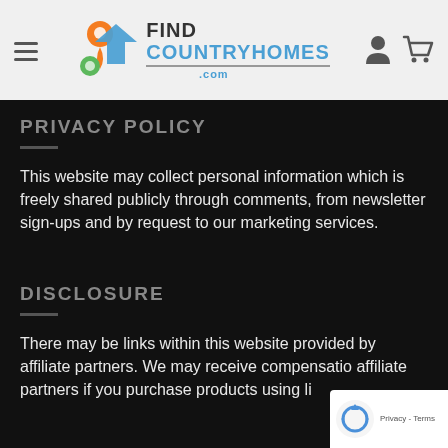FIND COUNTRYHOMES .com
PRIVACY POLICY
This website may collect personal information which is freely shared publicly through comments, from newsletter sign-ups and by request to our marketing services.
DISCLOSURE
There may be links within this website provided by affiliate partners. We may receive compensation affiliate partners if you purchase products using li...